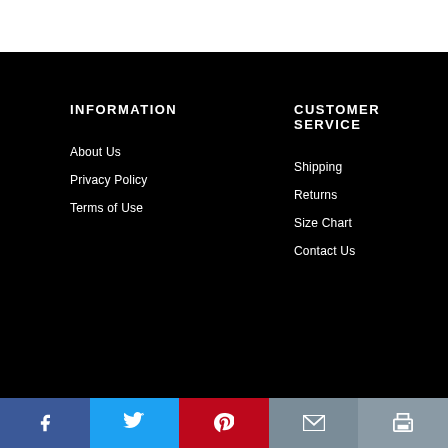INFORMATION
About Us
Privacy Policy
Terms of Use
CUSTOMER SERVICE
Shipping
Returns
Size Chart
Contact Us
[Figure (infographic): Social sharing bar with five buttons: Facebook (blue), Twitter (light blue), Pinterest (red), Email (gray), Print (gray)]